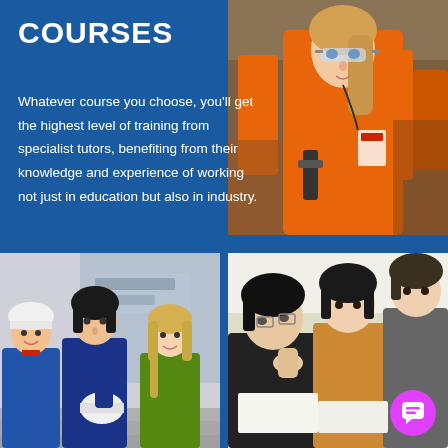COURSES
Whatever course you choose, you'll get the highest level of training from specialist tutors, benefiting from their knowledge and experience of working not just in education but also in industry.
[Figure (photo): Young woman in orange safety overalls and safety glasses in an industrial/workshop environment]
16-18
[Figure (photo): Three young students in blue work overalls sitting on steps, two boys and a girl, one holding a hard hat]
[Figure (photo): Group of young male students studying at desks in a classroom]